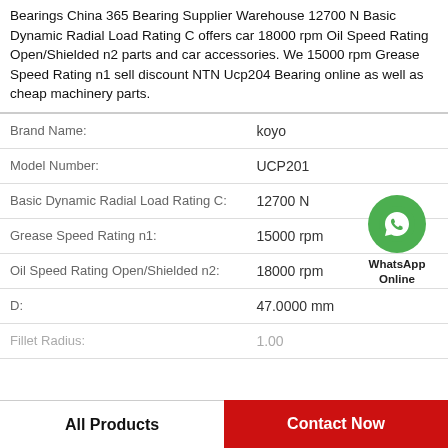Bearings China 365 Bearing Supplier Warehouse 12700 N Basic Dynamic Radial Load Rating C offers car 18000 rpm Oil Speed Rating Open/Shielded n2 parts and car accessories. We 15000 rpm Grease Speed Rating n1 sell discount NTN Ucp204 Bearing online as well as cheap machinery parts.
| Attribute | Value |
| --- | --- |
| Brand Name: | koyo |
| Model Number: | UCP201 |
| Basic Dynamic Radial Load Rating C: | 12700 N |
| Grease Speed Rating n1: | 15000 rpm |
| Oil Speed Rating Open/Shielded n2: | 18000 rpm |
| D: | 47.0000 mm |
| Fillet Radius: | 1.00... |
[Figure (logo): WhatsApp Online green circle icon with phone handset symbol and text 'WhatsApp Online']
All Products    Contact Now